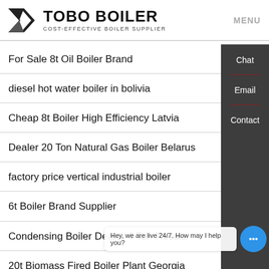TOBO BOILER COST-EFFECTIVE BOILER SUPPLIER | MENU
For Sale 8t Oil Boiler Brand
diesel hot water boiler in bolivia
Cheap 8t Boiler High Efficiency Latvia
Dealer 20 Ton Natural Gas Boiler Belarus
factory price vertical industrial boiler
6t Boiler Brand Supplier
Condensing Boiler Dealer 4 Ton Russia
20t Biomass Fired Boiler Plant Georgia